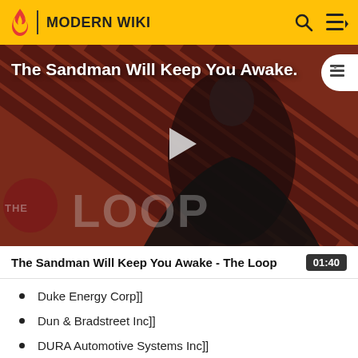MODERN WIKI
[Figure (screenshot): Video thumbnail showing 'The Sandman Will Keep You Awake - The Loop' with a dark-cloaked figure, diagonal striped background, THE LOOP watermark, and a play button in the center.]
The Sandman Will Keep You Awake - The Loop  01:40
Duke Energy Corp]]
Dun & Bradstreet Inc]]
DURA Automotive Systems Inc]]